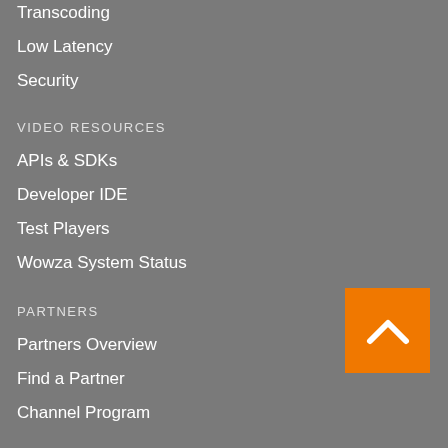Transcoding
Low Latency
Security
VIDEO RESOURCES
APIs & SDKs
Developer IDE
Test Players
Wowza System Status
PARTNERS
Partners Overview
Find a Partner
Channel Program
OEM Program
Partner Portal
COMPANY
About Us
[Figure (illustration): Orange square button with white upward chevron arrow (back to top button)]